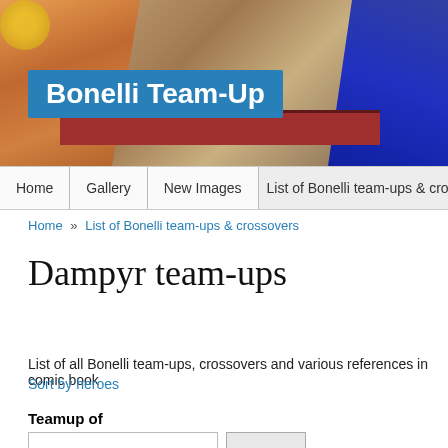[Figure (illustration): Comic book style header illustration with characters around a red table, yellow spots on left, blue-cloaked figure on right. 'Bonelli Team-Up' title in blue box overlay.]
Home  Gallery  New Images  List of Bonelli team-ups & crossovers
Home » List of Bonelli team-ups & crossovers
Dampyr team-ups
List of all Bonelli team-ups, crossovers and various references in comic book
Sort by heroes
Teamup of